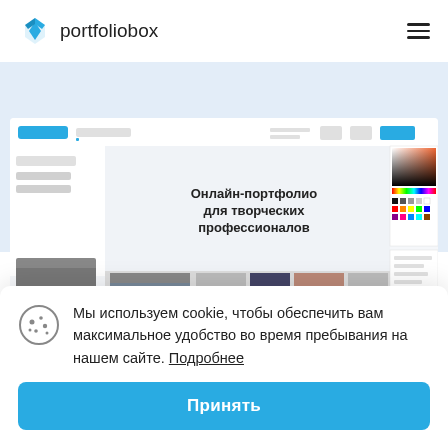portfoliobox
[Figure (screenshot): Screenshot of portfoliobox website editor showing color picker panel on right, menu on left, and gallery of photos with Russian text 'Онлайн-портфолио для творческих профессионалов' in the center]
Мы используем cookie, чтобы обеспечить вам максимальное удобство во время пребывания на нашем сайте. Подробнее
Принять